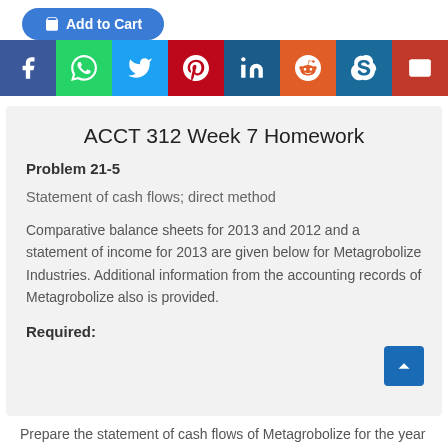[Figure (other): Add to Cart button (blue rounded rectangle) partially visible at top]
[Figure (other): Row of 8 social media share icon buttons: Facebook (dark blue), WhatsApp (green), Twitter (light blue), Pinterest (dark red), LinkedIn (dark blue), Reddit (orange), Skype (blue), Email (red)]
ACCT 312 Week 7 Homework
Problem 21-5
Statement of cash flows; direct method
Comparative balance sheets for 2013 and 2012 and a statement of income for 2013 are given below for Metagrobolize Industries. Additional information from the accounting records of Metagrobolize also is provided.
Required:
Prepare the statement of cash flows of Metagrobolize for the year